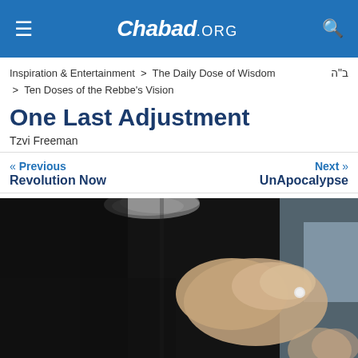Chabad.ORG
Inspiration & Entertainment > The Daily Dose of Wisdom  ב"ה
> Ten Doses of the Rebbe's Vision
One Last Adjustment
Tzvi Freeman
« Previous
Revolution Now
Next »
UnApocalypse
[Figure (photo): Close-up photo of a person in black clothing with gray beard, adjusting something with their hands — likely the Rebbe's hands clasped together.]